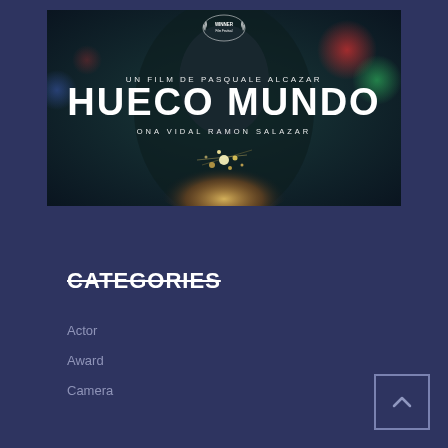[Figure (illustration): Movie poster for 'Hueco Mundo', a film by Pasquale Alcazar starring Ona Vidal and Ramon Salazar. Dark cinematic image of a person holding glowing lights. Winner laurel badge at top. White bold title text 'HUECO MUNDO' centered.]
CATEGORIES
Actor
Award
Camera